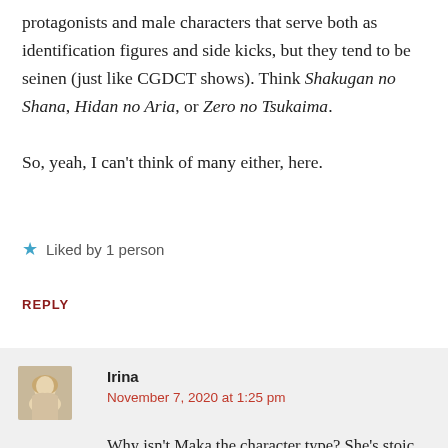protagonists and male characters that serve both as identification figures and side kicks, but they tend to be seinen (just like CGDCT shows). Think Shakugan no Shana, Hidan no Aria, or Zero no Tsukaima.

So, yeah, I can't think of many either, here.
★ Liked by 1 person
REPLY
Irina
November 7, 2020 at 1:25 pm
Why isn't Maka the character type? She's stoic, strong and stubborn.